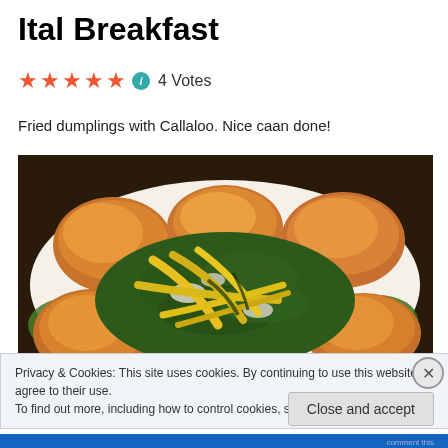Ital Breakfast
★★★★★ ℹ 4 Votes
Fried dumplings with Callaloo. Nice caan done!
[Figure (photo): A plate of fried dumplings (golden bread rolls) arranged around a center of sautéed callaloo greens with yellow pepper strips and onions.]
Privacy & Cookies: This site uses cookies. By continuing to use this website, you agree to their use.
To find out more, including how to control cookies, see here: Cookie Policy
Close and accept